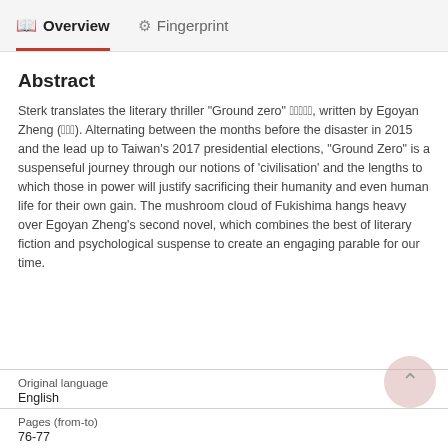Overview   Fingerprint
Abstract
Sterk translates the literary thriller "Ground zero" 零地點, written by Egoyan Zheng (鄭宜農). Alternating between the months before the disaster in 2015 and the lead up to Taiwan's 2017 presidential elections, "Ground Zero" is a suspenseful journey through our notions of 'civilisation' and the lengths to which those in power will justify sacrificing their humanity and even human life for their own gain. The mushroom cloud of Fukishima hangs heavy over Egoyan Zheng's second novel, which combines the best of literary fiction and psychological suspense to create an engaging parable for our time.
| Field | Value |
| --- | --- |
| Original language | English |
| Pages (from-to) | 76-77 |